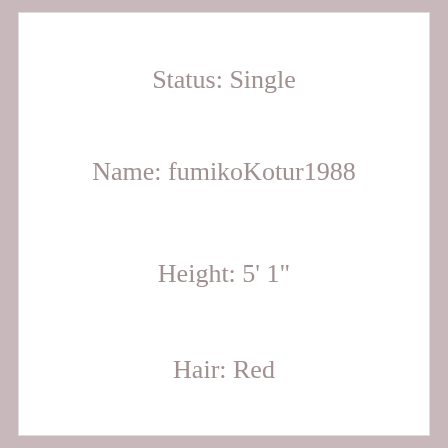Status: Single
Name: fumikoKotur1988
Height: 5' 1"
Hair: Red
Age: 52